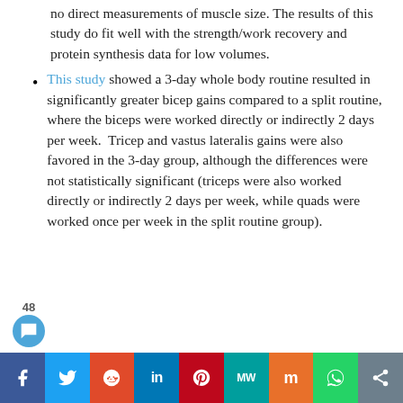no direct measurements of muscle size. The results of this study do fit well with the strength/work recovery and protein synthesis data for low volumes.
This study showed a 3-day whole body routine resulted in significantly greater bicep gains compared to a split routine, where the biceps were worked directly or indirectly 2 days per week.  Tricep and vastus lateralis gains were also favored in the 3-day group, although the differences were not statistically significant (triceps were also worked directly or indirectly 2 days per week, while quads were worked once per week in the split routine group).